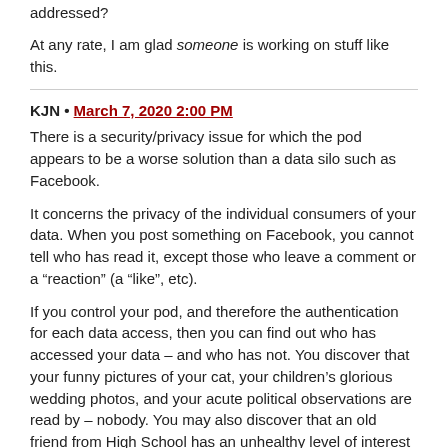addressed?
At any rate, I am glad someone is working on stuff like this.
KJN • March 7, 2020 2:00 PM
There is a security/privacy issue for which the pod appears to be a worse solution than a data silo such as Facebook.
It concerns the privacy of the individual consumers of your data. When you post something on Facebook, you cannot tell who has read it, except those who leave a comment or a “reaction” (a “like”, etc).
If you control your pod, and therefore the authentication for each data access, then you can find out who has accessed your data – and who has not. You discover that your funny pictures of your cat, your children’s glorious wedding photos, and your acute political observations are read by – nobody. You may also discover that an old friend from High School has an unhealthy level of interest in your swimsuit photos.
There is no escape from this issue if your pod is provided by a third party. Commercial providers of pods will compete on